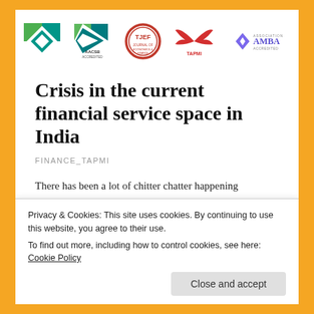[Figure (logo): Four logos: AACSB Accredited, TJEF, TAPMI, AMBA Accredited]
Crisis in the current financial service space in India
FINANCE_TAPMI
There has been a lot of chitter chatter happening everyday about the path the Indian economy is
Privacy & Cookies: This site uses cookies. By continuing to use this website, you agree to their use.
To find out more, including how to control cookies, see here: Cookie Policy
Close and accept